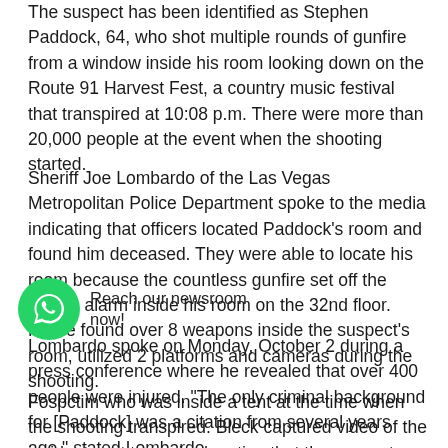The suspect has been identified as Stephen Paddock, 64, who shot multiple rounds of gunfire from a window inside his room looking down on the Route 91 Harvest Fest, a country music festival that transpired at 10:08 p.m. There were more than 20,000 people at the event when the shooting started.
Sheriff Joe Lombardo of the Las Vegas Metropolitan Police Department spoke to the media indicating that officers located Paddock's room and found him deceased. They were able to locate his room because the countless gunfire set off the smoke alarm inside his room on the 32nd floor. Police found over 8 weapons inside the suspect's room, utilized 2 platforms and cameras during the shooting.
Lombardo spoke on Monday, October 2 during a press conference where he revealed that over 400 people were injured. "The only criminal background for [Paddock] was a citation from several years ago," stated Lombardo.
Fo...sp...ctim who was inside a tent at the time when the shooting transpired. Bleck captured video of the incident as it transpired, noting that the suspect shot rapidly